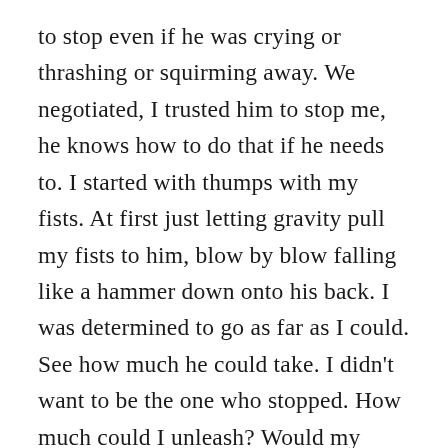to stop even if he was crying or thrashing or squirming away. We negotiated, I trusted him to stop me, he knows how to do that if he needs to. I started with thumps with my fists. At first just letting gravity pull my fists to him, blow by blow falling like a hammer down onto his back. I was determined to go as far as I could. See how much he could take. I didn't want to be the one who stopped. How much could I unleash? Would my body give out first, or could I tap in? I wanted to go until he forced me to stop. Not just with cries, but with a safeword, with a breakdown.